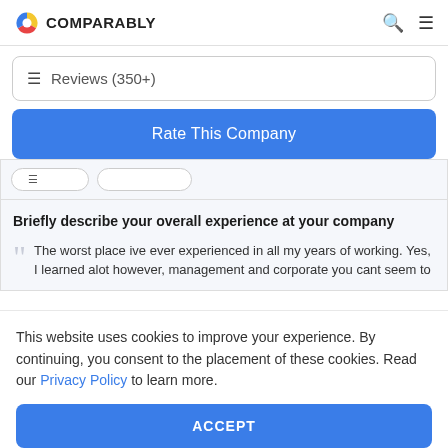COMPARABLY
Reviews (350+)
Rate This Company
Briefly describe your overall experience at your company
The worst place ive ever experienced in all my years of working. Yes, I learned alot however, management and corporate you cant seem to
This website uses cookies to improve your experience. By continuing, you consent to the placement of these cookies. Read our Privacy Policy to learn more.
ACCEPT